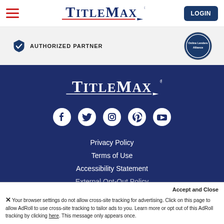TitleMax navigation header with hamburger menu and LOGIN button
[Figure (logo): TitleMax logo in header]
AUTHORIZED PARTNER
[Figure (logo): Online Lenders Alliance badge]
[Figure (logo): TitleMax logo in footer (white on dark blue)]
[Figure (infographic): Social media icons: Facebook, Twitter, Instagram, Pinterest, YouTube]
Privacy Policy
Terms of Use
Accessibility Statement
External Opt-Out Policy
Accept and Close
Your browser settings do not allow cross-site tracking for advertising. Click on this page to allow AdRoll to use cross-site tracking to tailor ads to you. Learn more or opt out of this AdRoll tracking by clicking here. This message only appears once.